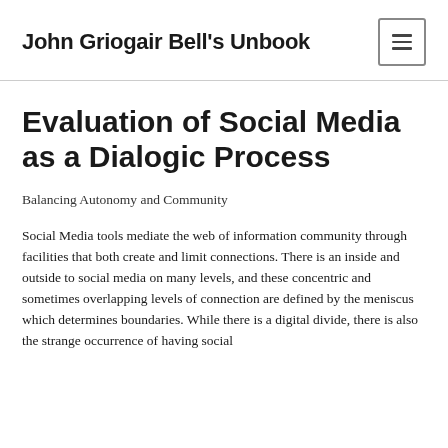John Griogair Bell's Unbook
Evaluation of Social Media as a Dialogic Process
Balancing Autonomy and Community
Social Media tools mediate the web of information community through facilities that both create and limit connections. There is an inside and outside to social media on many levels, and these concentric and sometimes overlapping levels of connection are defined by the meniscus which determines boundaries. While there is a digital divide, there is also the strange occurrence of having social